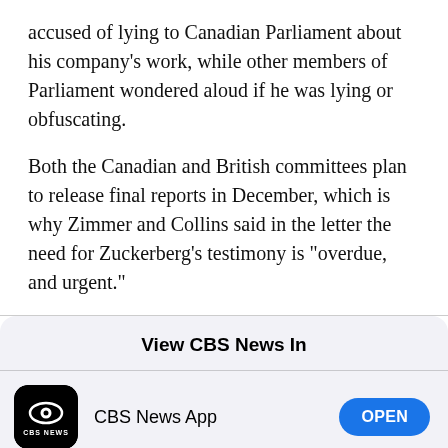accused of lying to Canadian Parliament about his company's work, while other members of Parliament wondered aloud if he was lying or obfuscating.
Both the Canadian and British committees plan to release final reports in December, which is why Zimmer and Collins said in the letter the need for Zuckerberg's testimony is "overdue, and urgent."
View CBS News In
[Figure (logo): CBS News App icon - black rounded square with CBS eye logo and 'CBS NEWS' text]
CBS News App
[Figure (logo): Safari browser icon - compass on blue gradient circle]
Safari